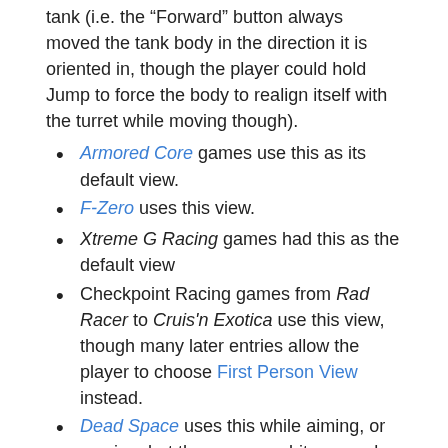tank (i.e. the "Forward" button always moved the tank body in the direction it is oriented in, though the player could hold Jump to force the body to realign itself with the turret while moving though).
Armored Core games use this as its default view.
F-Zero uses this view.
Xtreme G Racing games had this as the default view
Checkpoint Racing games from Rad Racer to Cruis'n Exotica use this view, though many later entries allow the player to choose First Person View instead.
Dead Space uses this while aiming, or moving, but the camera orbits around the player character freely if they're standing still.
Metal Gear Solid 4: Guns of the Patriots, when aiming guns in third-person mode.
Command & Conquer: Renegade's tanks actually have two camera settings of this manner - the default ties the camera to the tank body, with the turret able to aim away